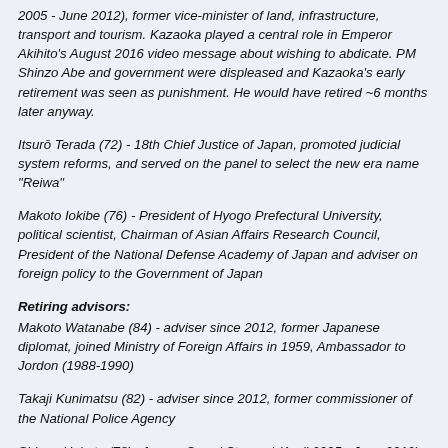2005 - June 2012), former vice-minister of land, infrastructure, transport and tourism. Kazaoka played a central role in Emperor Akihito's August 2016 video message about wishing to abdicate. PM Shinzo Abe and government were displeased and Kazaoka's early retirement was seen as punishment. He would have retired ~6 months later anyway.
Itsurō Terada (72) - 18th Chief Justice of Japan, promoted judicial system reforms, and served on the panel to select the new era name "Reiwa"
Makoto Iokibe (76) - President of Hyogo Prefectural University, political scientist, Chairman of Asian Affairs Research Council, President of the National Defense Academy of Japan and adviser on foreign policy to the Government of Japan
Retiring advisors:
Makoto Watanabe (84) - adviser since 2012, former Japanese diplomat, joined Ministry of Foreign Affairs in 1959, Ambassador to Jordon (1988-1990)
Takaji Kunimatsu (82) - adviser since 2012, former commissioner of the National Police Agency
Shingo Haketa (78) - former Grand Steward (April 2005 - June 2012) and Vice Grand Steward (2001-2005), career in